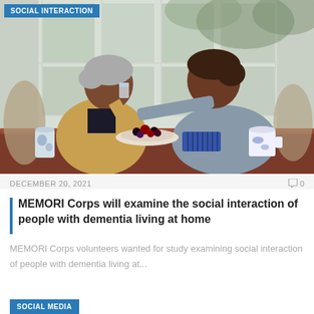[Figure (photo): Two elderly Black women sitting at a dining table. One woman on the left is drinking from a glass, wearing a tan cardigan. The woman on the right, wearing a grey sweater, reaches across to assist her. On the table are a plate of berries, a blue pill organizer, a decorative mug, and a small vase. Large windows are in the background.]
DECEMBER 20, 2021
0
MEMORI Corps will examine the social interaction of people with dementia living at home
MEMORI Corps volunteers wanted for study examining social interaction of people with dementia living at...
SOCIAL MEDIA